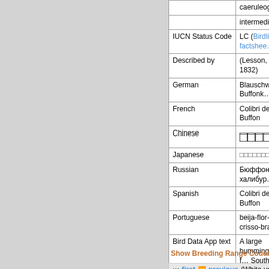| Field | Value |
| --- | --- |
|  | caeruleogaste… |
|  | intermedia |
| IUCN Status Code | LC (Birdlife factshee… |
| Described by | (Lesson, RP, 1832) |
| German | Blauschwanz-Buffonk… |
| French | Colibri de Buffon |
| Chinese | □□□□□□ |
| Japanese | □□□□□□□□ |
| Russian | Бюффонова халибур… |
| Spanish | Colibri de Buffon |
| Portuguese | beija-flor-de-crisso-bra… |
| Bird Data App text | A large hummingbird f… South America, in gar… an isolated population… sometimes called the … groups that race with t… |
Show Breeding Range Codes and Il…
first  previous  (White-ven…